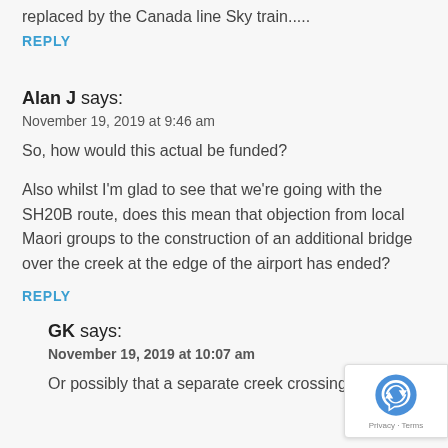replaced by the Canada line Sky train.....
REPLY
Alan J says:
November 19, 2019 at 9:46 am
So, how would this actual be funded?
Also whilst I'm glad to see that we're going with the SH20B route, does this mean that objection from local Maori groups to the construction of an additional bridge over the creek at the edge of the airport has ended?
REPLY
GK says:
November 19, 2019 at 10:07 am
Or possibly that a separate creek crossing